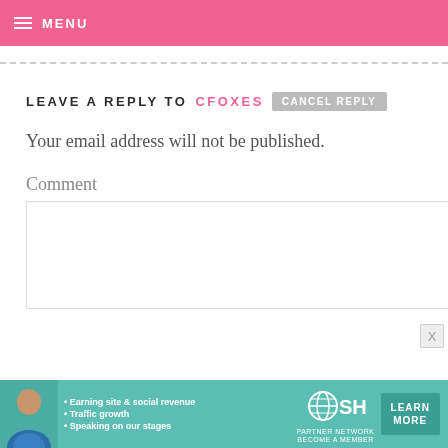MENU
LEAVE A REPLY TO CFOXES CANCEL REPLY
Your email address will not be published.
Comment
[Figure (screenshot): Empty comment text area input box]
[Figure (infographic): SHE Partner Network advertisement banner with photo of woman, bullet points: Earning site & social revenue, Traffic growth, Speaking on our stages, and LEARN MORE button]